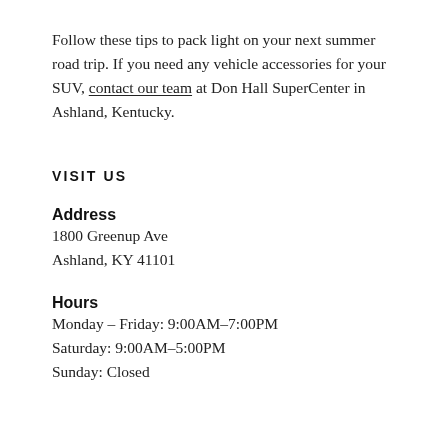Follow these tips to pack light on your next summer road trip. If you need any vehicle accessories for your SUV, contact our team at Don Hall SuperCenter in Ashland, Kentucky.
VISIT US
Address
1800 Greenup Ave
Ashland, KY 41101
Hours
Monday – Friday: 9:00AM–7:00PM
Saturday: 9:00AM–5:00PM
Sunday: Closed